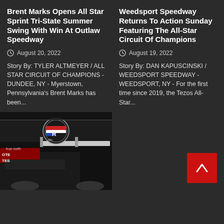Brent Marks Opens All Star Sprint Tri-State Summer Swing With Win At Outlaw Speedway
August 20, 2022
Story By: TYLER ALTMEYER / ALL STAR CIRCUIT OF CHAMPIONS - DUNDEE, NY - Myerstown, Pennsylvania's Brent Marks has been...
Weedsport Speedway Returns To Action Sunday Featuring The All-Star Circuit Of Champions
August 19, 2022
Story By: DAN KAPUSCINSKI / WEEDSPORT SPEEDWAY - WEEDSPORT, NY - For the first time since 2019, the Tezos All-Star...
[Figure (photo): Racing car photo with emblem/logo badge at a speedway event]